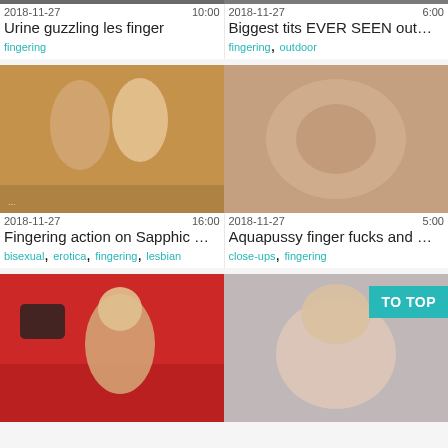[Figure (photo): Partial thumbnail top-left, cropped]
[Figure (photo): Partial thumbnail top-right, cropped]
2018-11-27   10:00
Urine guzzling les finger
fingering
2018-11-27   6:00
Biggest tits EVER SEEN out...
fingering, outdoor
[Figure (photo): Two women in erotic pose on floor]
[Figure (photo): Close-up explicit photo]
2018-11-27   16:00
Fingering action on Sapphic ...
bisexual, erotica, fingering, lesbian
2018-11-27   5:00
Aquapussy finger fucks and ...
close-ups, fingering
[Figure (photo): Mature woman in black bodysuit on red couch]
[Figure (photo): Blonde woman, explicit close-up]